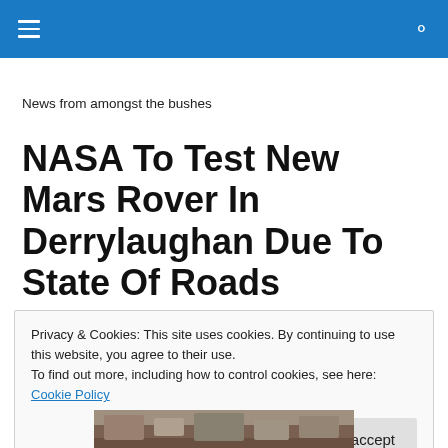≡  🔍
News from amongst the bushes
NASA To Test New Mars Rover In Derrylaughan Due To State Of Roads
Privacy & Cookies: This site uses cookies. By continuing to use this website, you agree to their use.
To find out more, including how to control cookies, see here: Cookie Policy
[Close and accept]
[Figure (photo): Partial view of a Mars rover or rocky terrain photograph at the bottom of the page]